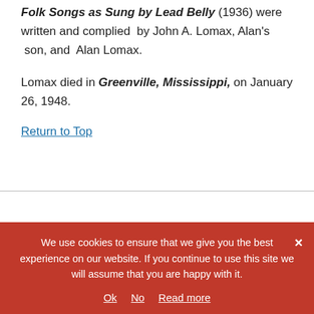Folk Songs as Sung by Lead Belly (1936) were written and complied by John A. Lomax, Alan's son, and Alan Lomax.
Lomax died in Greenville, Mississippi, on January 26, 1948.
Return to Top
We use cookies to ensure that we give you the best experience on our website. If you continue to use this site we will assume that you are happy with it. Ok No Read more